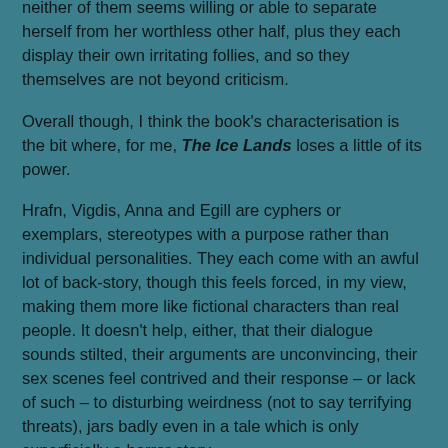neither of them seems willing or able to separate herself from her worthless other half, plus they each display their own irritating follies, and so they themselves are not beyond criticism.
Overall though, I think the book's characterisation is the bit where, for me, The Ice Lands loses a little of its power.
Hrafn, Vigdis, Anna and Egill are cyphers or exemplars, stereotypes with a purpose rather than individual personalities. They each come with an awful lot of back-story, though this feels forced, in my view, making them more like fictional characters than real people. It doesn't help, either, that their dialogue sounds stilted, their arguments are unconvincing, their sex scenes feel contrived and their response – or lack of such – to disturbing weirdness (not to say terrifying threats), jars badly even in a tale which is only superficially a horror story.
I wouldn't say this killed my interest in the book, but it was something of a distraction (particularly the latter point).
All things considered though, I was more engaged by the